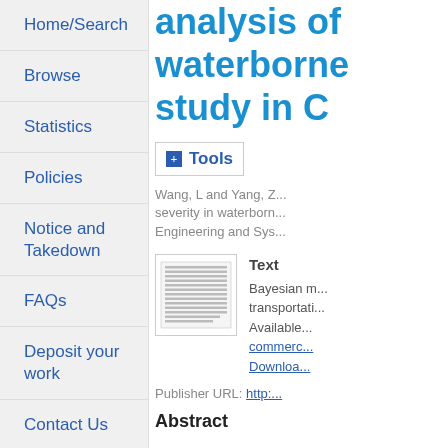Home/Search
Browse
Statistics
Policies
Notice and Takedown
FAQs
Deposit your work
Contact Us
Login
analysis of waterborne study in C
Tools
Wang, L and Yang, Z ... severity in waterborne ... Engineering and Sys...
[Figure (other): Thumbnail of a document page showing dense text]
Text
Bayesian m...
transportati...
Available...
commerce...
Downloa...
Publisher URL: http:...
Abstract